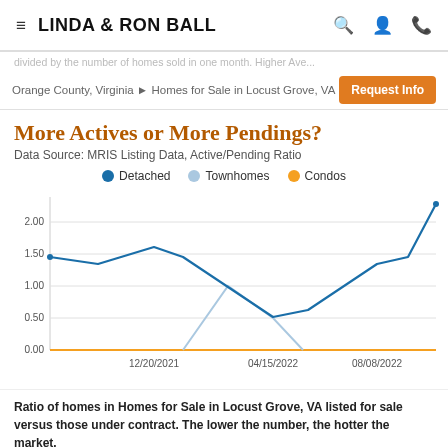LINDA & RON BALL
Orange County, Virginia ▶ Homes for Sale in Locust Grove, VA  |  Request Info
More Actives or More Pendings?
Data Source: MRIS Listing Data, Active/Pending Ratio
[Figure (line-chart): More Actives or More Pendings?]
Ratio of homes in Homes for Sale in Locust Grove, VA listed for sale versus those under contract. The lower the number, the hotter the market.